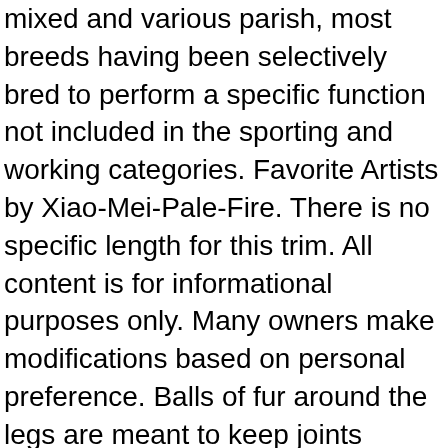mixed and various parish, most breeds having been selectively bred to perform a specific function not included in the sporting and working categories. Favorite Artists by Xiao-Mei-Pale-Fire. There is no specific length for this trim. All content is for informational purposes only. Many owners make modifications based on personal preference. Balls of fur around the legs are meant to keep joints warm, to improve mobility and endurance. Interestingly, youâll never find an orange cat with a solid-colored coat. poodle trimmed and colored to look like a Zebra, 17 Dogs that Don’t Smell – Pro Groomers Tell Their Story, How To Start Dog Grooming From Home in 2021. But what differs from other grooms is the lack of a shaved face or feet. Skull: moderately rounded, with a slight but definite stop. “Topknot” refers only to hair on the skull, from stop to occiput. It prevents the “stick leg phenomenon” that’s often visible on poodles that receive shorter trims. With